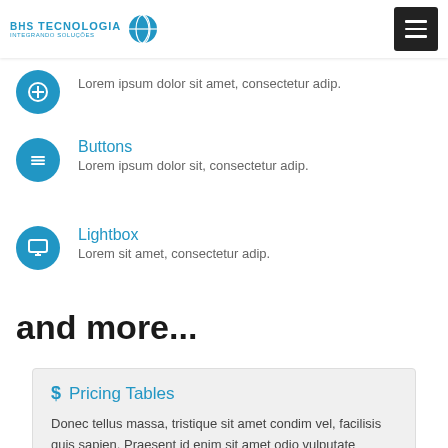BHS TECNOLOGIA INTEGRANDO SOLUÇÕES
Lorem ipsum dolor sit amet, consectetur adip.
Buttons
Lorem ipsum dolor sit, consectetur adip.
Lightbox
Lorem sit amet, consectetur adip.
and more...
$ Pricing Tables
Donec tellus massa, tristique sit amet condim vel, facilisis quis sapien. Praesent id enim sit amet odio vulputate eleifend in in tortor.